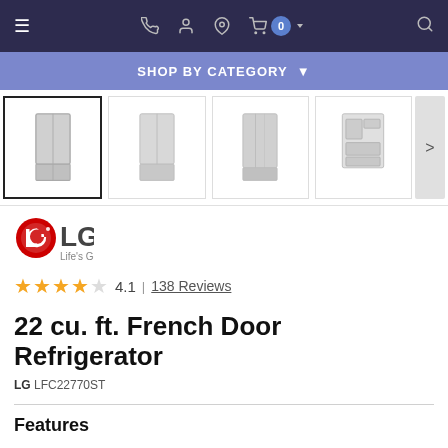Navigation bar with hamburger menu, phone, account, location, cart (0), and search icons
SHOP BY CATEGORY
[Figure (photo): Four product thumbnail images of LG French Door Refrigerator from different angles, first one selected with bold border, with a right-arrow navigation button]
[Figure (logo): LG logo with tagline 'Life's Good']
4.1 | 138 Reviews
22 cu. ft. French Door Refrigerator
LG LFC22770ST
Features